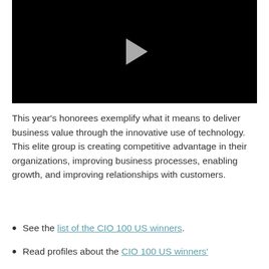[Figure (other): Black video player thumbnail with a light gray play button triangle in the center]
This year's honorees exemplify what it means to deliver business value through the innovative use of technology. This elite group is creating competitive advantage in their organizations, improving business processes, enabling growth, and improving relationships with customers.
See the list of the CIO 100 US winners.
Read profiles about the CIO 100 US winners'